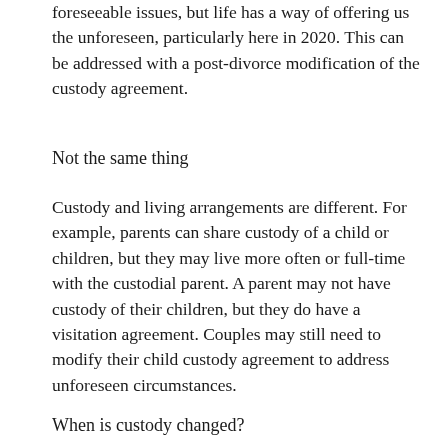foreseeable issues, but life has a way of offering us the unforeseen, particularly here in 2020. This can be addressed with a post-divorce modification of the custody agreement.
Not the same thing
Custody and living arrangements are different. For example, parents can share custody of a child or children, but they may live more often or full-time with the custodial parent. A parent may not have custody of their children, but they do have a visitation agreement. Couples may still need to modify their child custody agreement to address unforeseen circumstances.
When is custody changed?